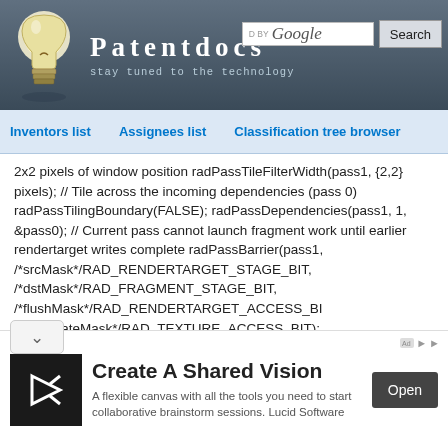Patentdocs — stay tuned to the technology
Inventors list | Assignees list | Classification tree browser
2x2 pixels of window position radPassTileFilterWidth(pass1, {2,2} pixels); // Tile across the incoming dependencies (pass 0) radPassTilingBoundary(FALSE); radPassDependencies(pass1, 1, &pass0); // Current pass cannot launch fragment work until earlier rendertarget writes complete radPassBarrier(pass1, /*srcMask*/RAD_RENDERTARGET_STAGE_BIT, /*dstMask*/RAD_FRAGMENT_STAGE_BIT, /*flushMask*/RAD_RENDERTARGET_ACCESS_BIT, /*invalidateMask*/RAD_TEXTURE_ACCESS_BIT); // Discard the transient color0 at the end of this pass, with an offset // that is double the filter width radPassDiscard(pass1, color0, 4 pixels); // Store color1 at the end of this pass radPassStore(pass1,
Create A Shared Vision — A flexible canvas with all the tools you need to start collaborative brainstorm sessions. Lucid Software